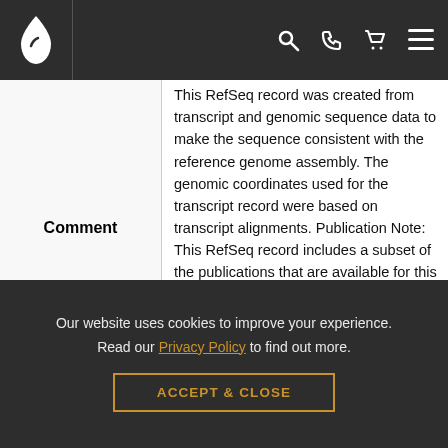Navigation bar with logo and icons
|  |  |
| --- | --- |
| Comment | This RefSeq record was created from transcript and genomic sequence data to make the sequence consistent with the reference genome assembly. The genomic coordinates used for the transcript record were based on transcript alignments. Publication Note: This RefSeq record includes a subset of the publications that are available for this gene. Please see the Gene record to access additional publications. ##Evidence-Data-START## Transcript exon combination :: |
Our website uses cookies to improve your experience. Read our Privacy Policy to find out more.
ACCEPT & CLOSE